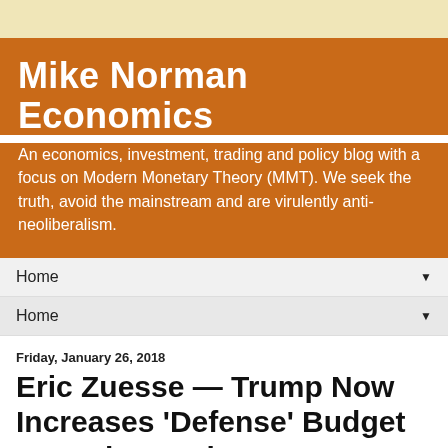Mike Norman Economics
An economics, investment, trading and policy blog with a focus on Modern Monetary Theory (MMT). We seek the truth, avoid the mainstream and are virulently anti-neoliberalism.
Home
Home
Friday, January 26, 2018
Eric Zuesse — Trump Now Increases 'Defense' Budget 37% Above Obama's
The Washington Post headlined on January 26th,